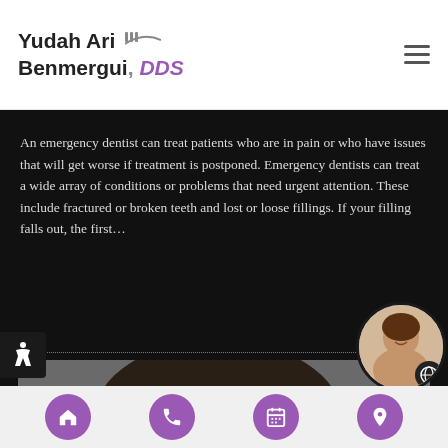Yudah Ari Benmergui, DDS
An emergency dentist can treat patients who are in pain or who have issues that will get worse if treatment is postponed. Emergency dentists can treat a wide array of conditions or problems that need urgent attention. These include fractured or broken teeth and lost or loose fillings. If your filling falls out, the first…
[Figure (photo): Photo of a dark-haired bearded man wincing in pain, presumably from a dental issue]
Navigation icons: Home, Phone, Calendar, Location